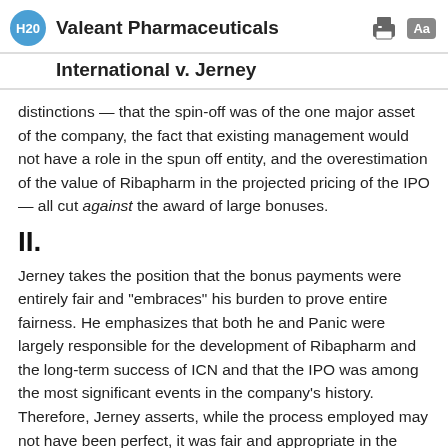H20 Valeant Pharmaceuticals
International v. Jerney
distinctions — that the spin-off was of the one major asset of the company, the fact that existing management would not have a role in the spun off entity, and the overestimation of the value of Ribapharm in the projected pricing of the IPO — all cut against the award of large bonuses.
II.
Jerney takes the position that the bonus payments were entirely fair and "embraces" his burden to prove entire fairness. He emphasizes that both he and Panic were largely responsible for the development of Ribapharm and the long-term success of ICN and that the IPO was among the most significant events in the company's history. Therefore, Jerney asserts, while the process employed may not have been perfect, it was fair and appropriate in the circumstances, and the level of bonuses was justified.